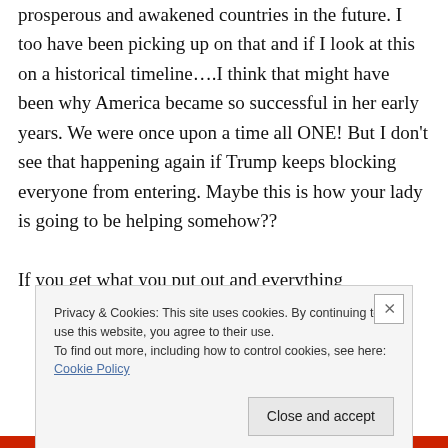prosperous and awakened countries in the future. I too have been picking up on that and if I look at this on a historical timeline….I think that might have been why America became so successful in her early years. We were once upon a time all ONE! But I don't see that happening again if Trump keeps blocking everyone from entering. Maybe this is how your lady is going to be helping somehow??

If you get what you put out and everything
Privacy & Cookies: This site uses cookies. By continuing to use this website, you agree to their use.
To find out more, including how to control cookies, see here: Cookie Policy